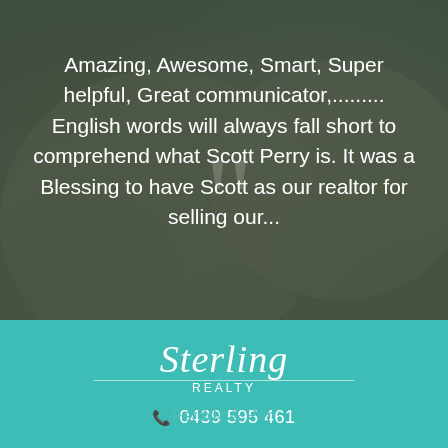[Figure (photo): Blurred sandy textured background photo with dark green overlay, showing what appears to be rounded sandy or doughy objects]
Amazing, Awesome, Smart, Super helpful, Great communicator,......... English words will always fall short to comprehend what Scott Perry is. It was a Blessing to have Scott as our realtor for selling our...
Ferddy & Peri
[Figure (logo): Sterling Realty logo in white italic serif font on teal background]
0439 595 461